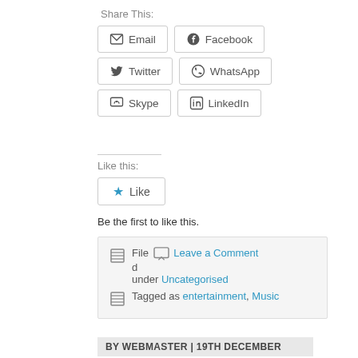Share This:
Email
Facebook
Twitter
WhatsApp
Skype
LinkedIn
Like this:
Like
Be the first to like this.
Filed under Uncategorised
Tagged as entertainment, Music
Leave a Comment
BY WEBMASTER | 19TH DECEMBER